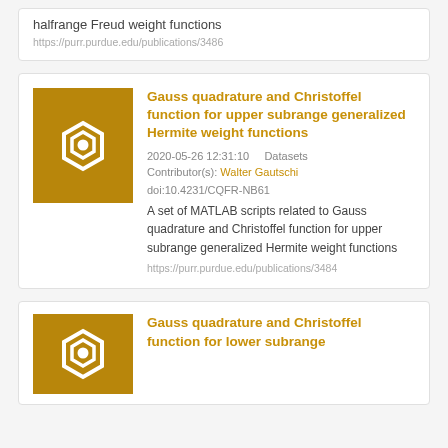halfrange Freud weight functions
https://purr.purdue.edu/publications/3486
Gauss quadrature and Christoffel function for upper subrange generalized Hermite weight functions
2020-05-26 12:31:10   Datasets
Contributor(s): Walter Gautschi
doi:10.4231/CQFR-NB61
A set of MATLAB scripts related to Gauss quadrature and Christoffel function for upper subrange generalized Hermite weight functions
https://purr.purdue.edu/publications/3484
Gauss quadrature and Christoffel function for lower subrange